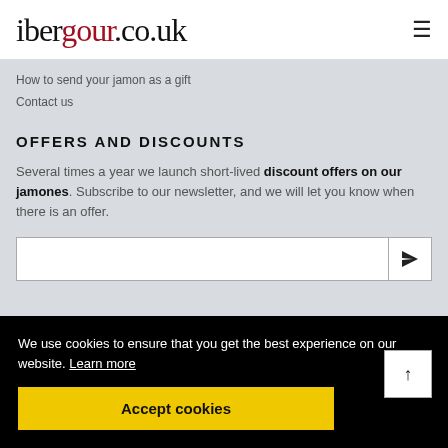ibergour.co.uk
How to send your jamon as a gift
Contact us
OFFERS AND DISCOUNTS
Several times a year we launch short-lived discount offers on our jamones. Subscribe to our newsletter, and we will let you know when there is an offer.
We use cookies to ensure that you get the best experience on our website. Learn more
Accept cookies